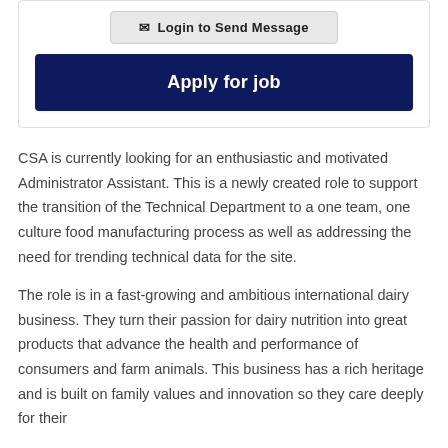✉ Login to Send Message
Apply for job
CSA is currently looking for an enthusiastic and motivated Administrator Assistant. This is a newly created role to support the transition of the Technical Department to a one team, one culture food manufacturing process as well as addressing the need for trending technical data for the site.
The role is in a fast-growing and ambitious international dairy business. They turn their passion for dairy nutrition into great products that advance the health and performance of consumers and farm animals. This business has a rich heritage and is built on family values and innovation so they care deeply for their